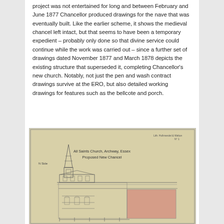project was not entertained for long and between February and June 1877 Chancellor produced drawings for the nave that was eventually built. Like the earlier scheme, it shows the medieval chancel left intact, but that seems to have been a temporary expedient – probably only done so that divine service could continue while the work was carried out – since a further set of drawings dated November 1877 and March 1878 depicts the existing structure that superseded it, completing Chancellor's new church. Notably, not just the pen and wash contract drawings survive at the ERO, but also detailed working drawings for features such as the bellcote and porch.
[Figure (photo): A historical architectural drawing/blueprint showing a church design. The document appears aged (yellowish paper). On the left is a sketch of a church with a spire. There are handwritten labels including what appears to 'All Saints Church, Archway Essex' and 'Proposed New Chancel'. On the right side is a pinkish/reddish rectangular section. The drawing shows elevation plans with horizontal construction lines.]